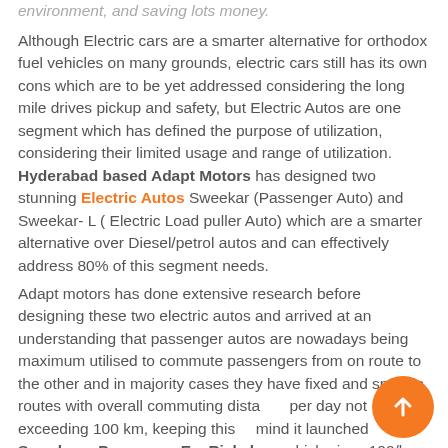environment, and saving lots money.

Although Electric cars are a smarter alternative for orthodox fuel vehicles on many grounds, electric cars still has its own cons which are to be yet addressed considering the long mile drives pickup and safety, but Electric Autos are one segment which has defined the purpose of utilization, considering their limited usage and range of utilization. Hyderabad based Adapt Motors has designed two stunning Electric Autos Sweekar (Passenger Auto) and Sweekar- L ( Electric Load puller Auto) which are a smarter alternative over Diesel/petrol autos and can effectively address 80% of this segment needs.

Adapt motors has done extensive research before designing these two electric autos and arrived at an understanding that passenger autos are nowadays being maximum utilised to commute passengers from on route to the other and in majority cases they have fixed and specific routes with overall commuting distance per day not exceeding 100 km, keeping this in mind it launched Sweekar – Passenger E – Rickshaw which gives 100/km mileage with a